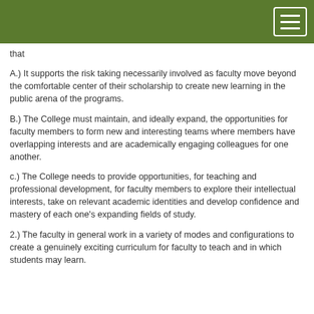that
A.) It supports the risk taking necessarily involved as faculty move beyond the comfortable center of their scholarship to create new learning in the public arena of the programs.
B.) The College must maintain, and ideally expand, the opportunities for faculty members to form new and interesting teams where members have overlapping interests and are academically engaging colleagues for one another.
c.) The College needs to provide opportunities, for teaching and professional development, for faculty members to explore their intellectual interests, take on relevant academic identities and develop confidence and mastery of each one's expanding fields of study.
2.) The faculty in general work in a variety of modes and configurations to create a genuinely exciting curriculum for faculty to teach and in which students may learn.